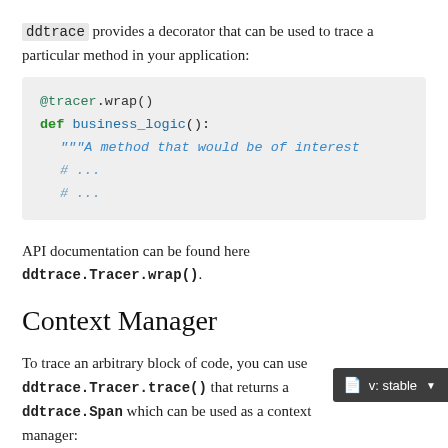ddtrace provides a decorator that can be used to trace a particular method in your application:
@tracer.wrap()
def business_logic():
    """A method that would be of interest
    # ...
    # ...
API documentation can be found here ddtrace.Tracer.wrap().
Context Manager
To trace an arbitrary block of code, you can use ddtrace.Tracer.trace() that returns a ddtrace.Span which can be used as a context manager: